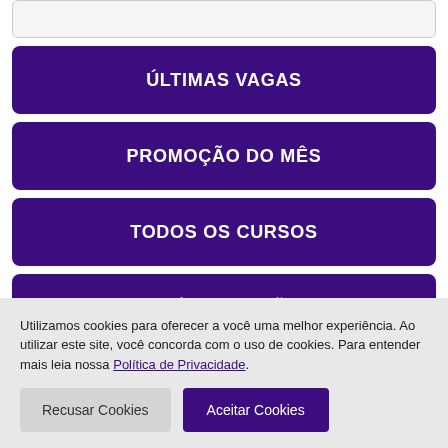[Figure (screenshot): Top partial input/search box with rounded corners and light gray background]
ÚLTIMAS VAGAS
PROMOÇÃO DO MÊS
TODOS OS CURSOS
PRÉ-INSCRIÇÃO
Utilizamos cookies para oferecer a você uma melhor experiência. Ao utilizar este site, você concorda com o uso de cookies. Para entender mais leia nossa Política de Privacidade.
Recusar Cookies
Aceitar Cookies